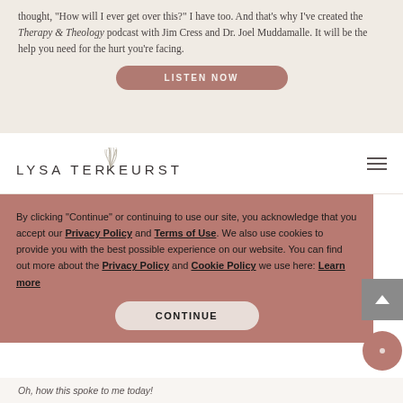thought, “How will I ever get over this?” I have too. And that’s why I’ve created the Therapy & Theology podcast with Jim Cress and Dr. Joel Muddamalle. It will be the help you need for the hurt you’re facing.
[Figure (other): LISTEN NOW button - rounded rectangle button in muted rose/mauve color with white uppercase text]
[Figure (logo): Lysa TerKeurst logo with botanical leaf illustration and serif/sans-serif text, plus hamburger menu icon on right]
By clicking “Continue” or continuing to use our site, you acknowledge that you accept our Privacy Policy and Terms of Use. We also use cookies to provide you with the best possible experience on our website. You can find out more about the Privacy Policy and Cookie Policy we use here: Learn more
[Figure (other): CONTINUE button - rounded rectangle button in light beige/blush color with bold uppercase text]
Oh, how this spoke to me today!